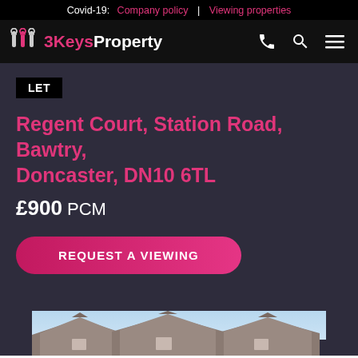Covid-19: Company policy | Viewing properties
[Figure (logo): 3KeysProperty logo with key icons, pink and white text on black background]
LET
Regent Court, Station Road, Bawtry, Doncaster, DN10 6TL
£900 PCM
REQUEST A VIEWING
[Figure (photo): Partial photo of residential building rooftops with sky background]